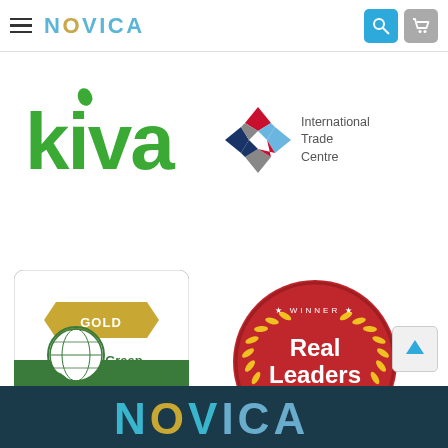[Figure (logo): NOVICA website navigation bar with hamburger menu, NOVICA logo in teal, search icon (blue), and cart icon (gray)]
[Figure (logo): Kiva logo in green text with leaf icon]
[Figure (logo): International Trade Centre logo with colorful diamond pattern and text 'International Trade Centre']
[Figure (logo): Green America GOLD Certified Business badge - green and gold badge with globe icon]
[Figure (logo): Real Leaders Impact Awards 2022 Winner - red circular badge with gold laurel wreath]
[Figure (logo): NOVICA logo in teal/gold on dark navy footer background]